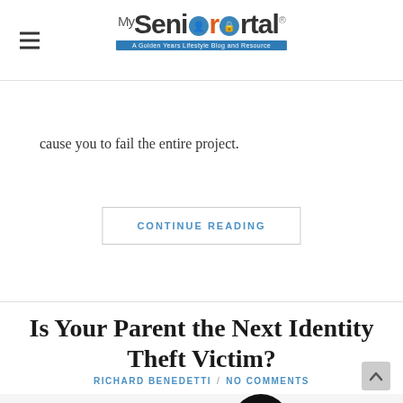My Senior Portal — A Golden Years Lifestyle Blog and Resource
cause you to fail the entire project.
CONTINUE READING
Is Your Parent the Next Identity Theft Victim?
RICHARD BENEDETTI / NO COMMENTS
[Figure (photo): Silhouette of two people (an adult and a child) sitting across from each other at a table, in conversation]